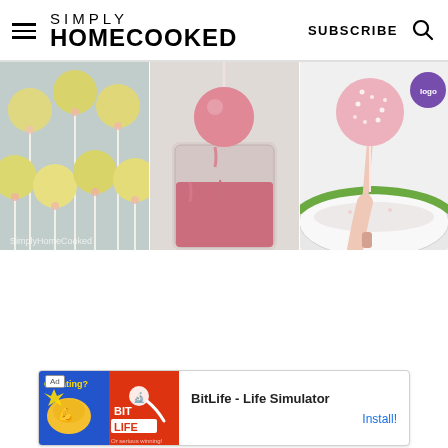SIMPLY HOMECOOKED | SUBSCRIBE
[Figure (photo): Three-panel collage of cake pop making steps: left panel shows yellow cake pops on sticks arranged on a tray, middle panel shows a pink cake pop being dipped into pink chocolate in a glass, right panel shows a hand holding a pink sprinkled cake pop over a bowl.]
[Figure (other): Advertisement banner: BitLife - Life Simulator app ad with Install button]